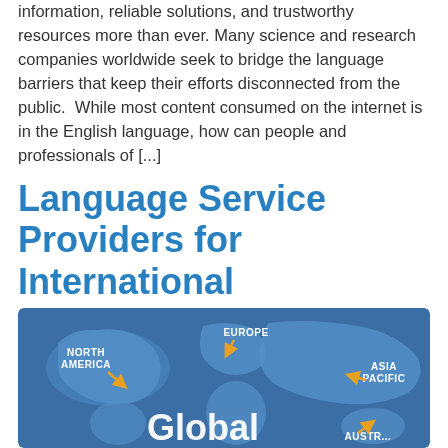information, reliable solutions, and trustworthy resources more than ever. Many science and research companies worldwide seek to bridge the language barriers that keep their efforts disconnected from the public.  While most content consumed on the internet is in the English language, how can people and professionals of [...]
Language Service Providers for International Businesses
[Figure (illustration): Blue world map illustration with regions labeled: NORTH AMERICA, EUROPE, ASIA PACIFIC, AUSTRALIA (partially visible), and Global in large white text at bottom center. Orange arrows point to each region label.]